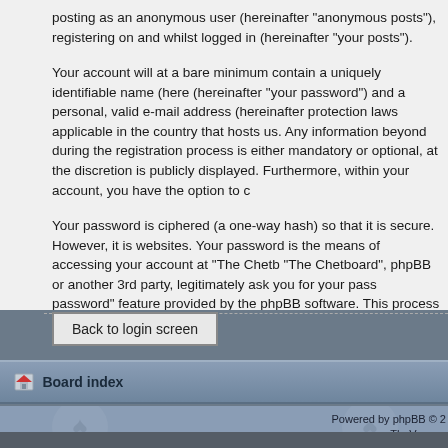posting as an anonymous user (hereinafter "anonymous posts"), registering on and whilst logged in (hereinafter "your posts").
Your account will at a bare minimum contain a uniquely identifiable name (here (hereinafter "your password") and a personal, valid e-mail address (hereinafter protection laws applicable in the country that hosts us. Any information beyond during the registration process is either mandatory or optional, at the discretion is publicly displayed. Furthermore, within your account, you have the option to c
Your password is ciphered (a one-way hash) so that it is secure. However, it is websites. Your password is the means of accessing your account at "The Chetb "The Chetboard", phpBB or another 3rd party, legitimately ask you for your pass password" feature provided by the phpBB software. This process will ask you to password to reclaim your account.
Back to login screen
Board index
Powered by phpBB © 2
TheVoyage